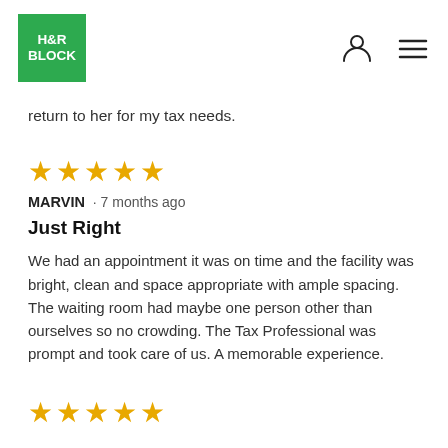[Figure (logo): H&R Block green square logo with white text]
return to her for my tax needs.
[Figure (other): 5 gold star rating]
MARVIN · 7 months ago
Just Right
We had an appointment it was on time and the facility was bright, clean and space appropriate with ample spacing. The waiting room had maybe one person other than ourselves so no crowding. The Tax Professional was prompt and took care of us. A memorable experience.
[Figure (other): 5 gold star rating (partial view, bottom of page)]